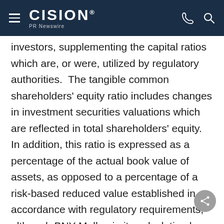CISION PR Newswire
investors, supplementing the capital ratios which are, or were, utilized by regulatory authorities.  The tangible common shareholders' equity ratio includes changes in investment securities valuations which are reflected in total shareholders' equity.  In addition, this ratio is expressed as a percentage of the actual book value of assets, as opposed to a percentage of a risk-based reduced value established in accordance with regulatory requirements, although BNY Mellon in its calculation has excluded certain assets which are given a zero percent risk-weighting for regulatory purposes.  Further, BNY Mellon believes that the return on tangible common equity measure, which excludes goodwill and intangible assets net of